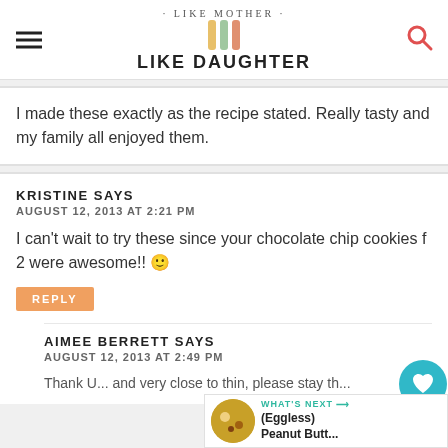LIKE MOTHER LIKE DAUGHTER
I made these exactly as the recipe stated. Really tasty and my family all enjoyed them.
KRISTINE SAYS
AUGUST 12, 2013 AT 2:21 PM

I can't wait to try these since your chocolate chip cookies f 2 were awesome!! 🙂
AIMEE BERRETT SAYS
AUGUST 12, 2013 AT 2:49 PM
Thank U... and very close to thin, please stay th...